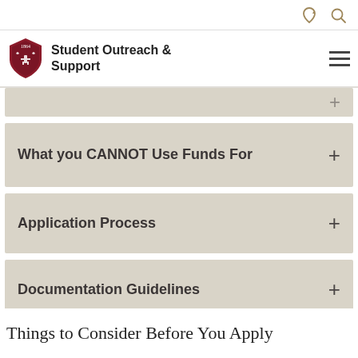Student Outreach & Support
What you CANNOT Use Funds For
Application Process
Documentation Guidelines
Things to Consider Before You Apply